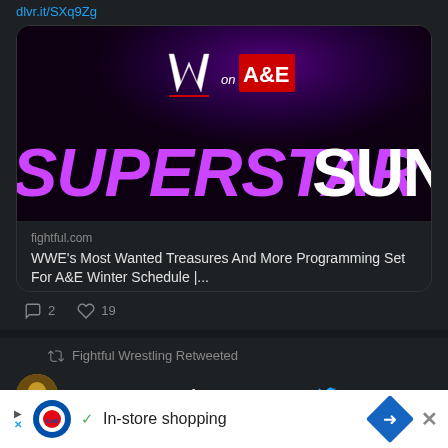dlvr.it/SXq9Zg
[Figure (screenshot): WWE on A&E Superstar Sunday promotional image with purple and white text on dark background]
fightful.com
WWE's Most Wanted Treasures And More Programming Set For A&E Winter Schedule |...
2 comments, 19 likes
Fightful Wrestling Retweeted
Sean Ross Sapp of ... @Sean · 51m
In-store shopping